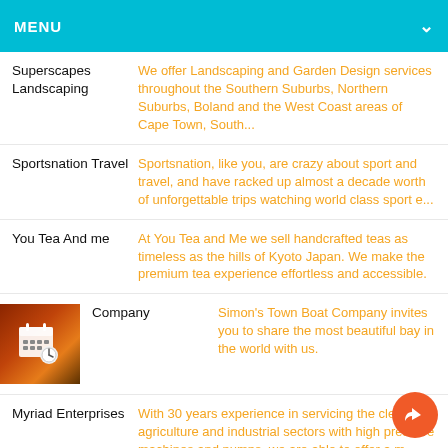MENU
Superscapes Landscaping — We offer Landscaping and Garden Design services throughout the Southern Suburbs, Northern Suburbs, Boland and the West Coast areas of Cape Town, South...
Sportsnation Travel — Sportsnation, like you, are crazy about sport and travel, and have racked up almost a decade worth of unforgettable trips watching world class sport e...
You Tea And me — At You Tea and Me we sell handcrafted teas as timeless as the hills of Kyoto Japan. We make the premium tea experience effortless and accessible.
Company — Simon's Town Boat Company invites you to share the most beautiful bay in the world with us.
Myriad Enterprises — With 30 years experience in servicing the cleaning, agriculture and industrial sectors with high pressure machines and pumps, we are able to offer a m...
The Coffee Guy — We are an independant artisan coffee roasting company situated in Cape Town, South Africa.